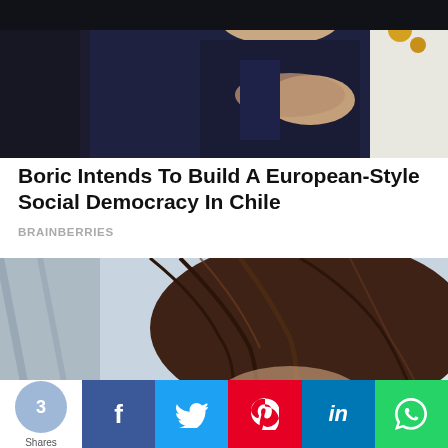[Figure (photo): Photo of people at a formal event, a person in dark suit with hand on chest, another in white uniform with medals visible]
Boric Intends To Build A European-Style Social Democracy In Chile
BRAINBERRIES
[Figure (photo): Close-up photo of a woman with dark brown hair looking down]
3 Shares | Facebook | Twitter | Pinterest | LinkedIn | WhatsApp